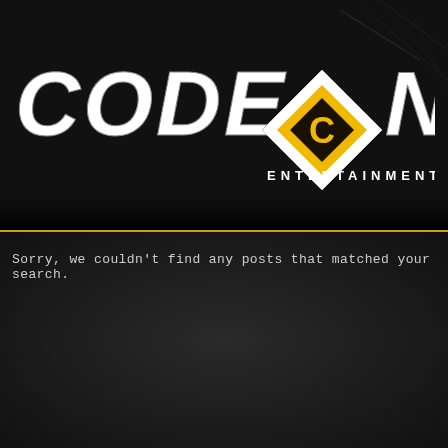[Figure (logo): Codename Entertainment logo with diamond/rhombus icon containing a golden C symbol, white bold italic text CODE NAME, and ENTERTAINMENT subtitle below]
Sorry, we couldn't find any posts that matched your search.